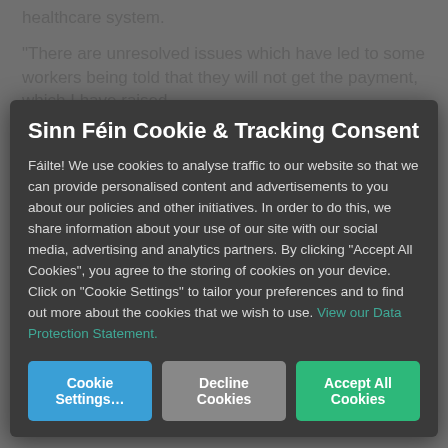healthcare system.
“There are unresolved issues which have led to some workers being told that they will not get the payment, which I have raised
Sinn Féin Cookie & Tracking Consent
Fáilte! We use cookies to analyse traffic to our website so that we can provide personalised content and advertisements to you about our policies and other initiatives. In order to do this, we share information about your use of our site with our social media, advertising and analytics partners. By clicking “Accept All Cookies”, you agree to the storing of cookies on your device. Click on “Cookie Settings” to tailor your preferences and to find out more about the cookies that we wish to use. View our Data Protection Statement.
[Figure (screenshot): Three cookie consent buttons: Cookie Settings... (blue), Decline Cookies (grey), Accept All Cookies (green)]
[Figure (screenshot): Social media icons bar in teal: Facebook, Twitter, YouTube, Instagram, Flickr]
Tweets by @sinnfeinireland